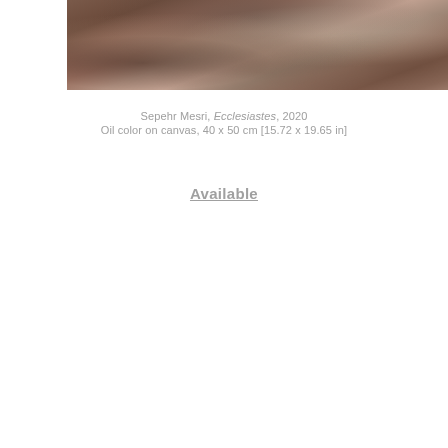[Figure (photo): Painting artwork photo showing a textured, earthy-toned composition with organic forms, muted browns and taupes, resembling a natural or floral scene.]
Sepehr Mesri, Ecclesiastes, 2020
Oil color on canvas, 40 x 50 cm [15.72 x 19.65 in]
Available